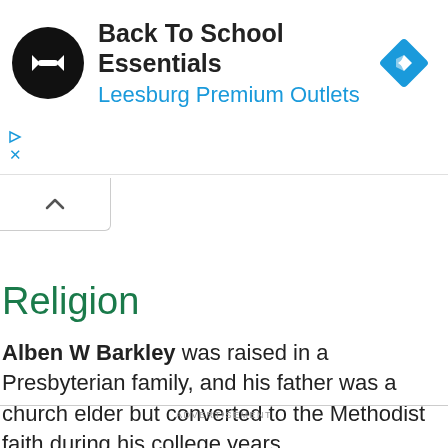[Figure (screenshot): Advertisement banner: Black circular logo with double arrow symbol, text 'Back To School Essentials' in bold dark, 'Leesburg Premium Outlets' in blue, blue diamond navigation icon on right, small play and X controls on left]
[Figure (other): Collapse/hide button with upward chevron arrow]
Religion
Alben W Barkley was raised in a Presbyterian family, and his father was a church elder but converted to the Methodist faith during his college years.
ADVERTISEMENT